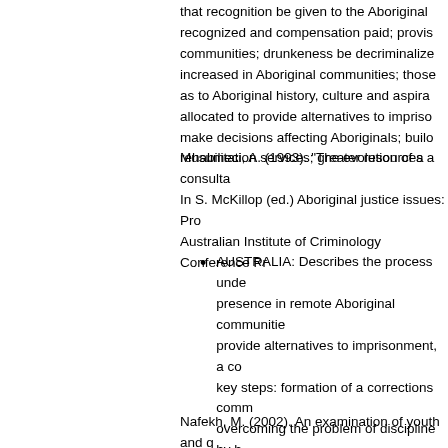that recognition be given to the Aboriginal... recognized and compensation paid; provisions... communities; drunkeness be decriminalized... increased in Aboriginal communities; those... as to Aboriginal history, culture and aspirations... allocated to provide alternatives to imprisonment... make decisions affecting Aboriginals; building... rehabilitation services; greater resources a...
Musumeci, A. (1993). "The evolution of a consultation process..." In S. McKillop (ed.) Aboriginal justice issues: Proceedings... Australian Institute of Criminology Conference Pr...
AUSTRALIA: Describes the process under... presence in remote Aboriginal communities... provide alternatives to imprisonment, a co... key steps: formation of a corrections comm... overcoming the problem of discipline by b... community-wide network of support; a Co... the Queensland Corrective Services Comm... responsible for statutory supervision and t... and, the committee and officer working tog... council, church, school, private enterprise)...
Nafekh, M. (2002). An examination of youth and g... population. Research Report R-121, Correctional...
CANADA: Examines youth gangs among A... strategies that focus on Aboriginal youth.
Nahanee, T.A. (1996). A profile of Aboriginal sex o...